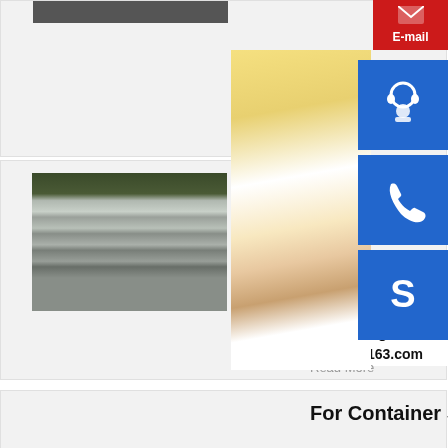[Figure (photo): Partial view of a product card with gray background and dark image strip at top]
Read More
[Figure (photo): Stacked steel plates in industrial setting, metallic gray tones]
P
–
H
S
MANUAL SE
QUOTING O
bsteel1@163.com
Read More
For Container S
[Figure (photo): Customer service representative (woman with headset)]
[Figure (illustration): Blue square button with white headset/customer service icon]
[Figure (illustration): Blue square button with white phone icon]
[Figure (illustration): Blue square button with white Skype logo icon]
E-mail